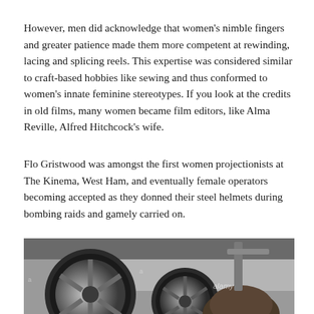However, men did acknowledge that women's nimble fingers and greater patience made them more competent at rewinding, lacing and splicing reels. This expertise was considered similar to craft-based hobbies like sewing and thus conformed to women's innate feminine stereotypes. If you look at the credits in old films, many women became film editors, like Alma Reville, Alfred Hitchcock's wife.
Flo Gristwood was amongst the first women projectionists at The Kinema, West Ham, and eventually female operators becoming accepted as they donned their steel helmets during bombing raids and gamely carried on.
[Figure (photo): A black and white photograph showing film reels and what appears to be a person's head, with an 'alamy' watermark visible.]